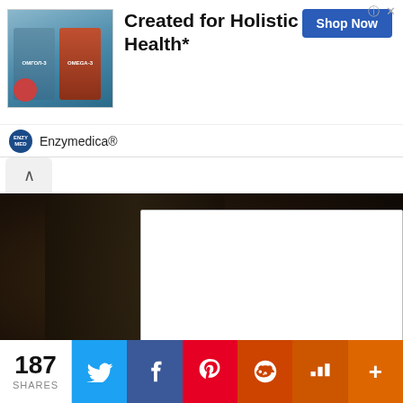[Figure (photo): Advertisement banner: Two Omega-3 supplement packages held in a hand, with text 'Created for Holistic Health*' and 'Shop Now' button, branded Enzymedica]
[Figure (photo): Dark photo of a medical syringe showing '10ml' marking with scale markings visible, partially overlaid by a white empty panel with 'POWERED BY HELPLOGGER' footer]
So now, this is m HEIGHT ENHANCER. Right now it's my 4th month in
187 SHARES